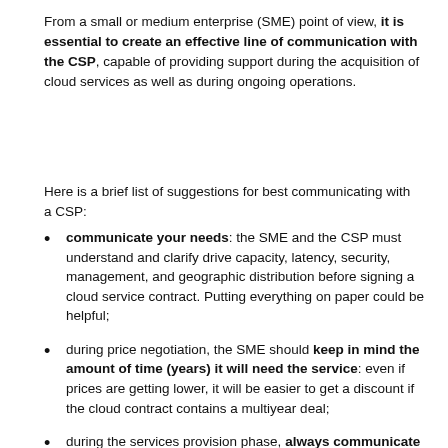From a small or medium enterprise (SME) point of view, it is essential to create an effective line of communication with the CSP, capable of providing support during the acquisition of cloud services as well as during ongoing operations.
Here is a brief list of suggestions for best communicating with a CSP:
communicate your needs: the SME and the CSP must understand and clarify drive capacity, latency, security, management, and geographic distribution before signing a cloud service contract. Putting everything on paper could be helpful;
during price negotiation, the SME should keep in mind the amount of time (years) it will need the service: even if prices are getting lower, it will be easier to get a discount if the cloud contract contains a multiyear deal;
during the services provision phase, always communicate through a channel that can be